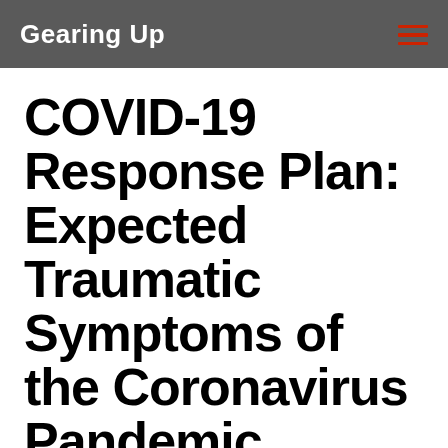Gearing Up
COVID-19 Response Plan: Expected Traumatic Symptoms of the Coronavirus Pandemic
April 23, 2020
Expected Traumatic Symptoms of the